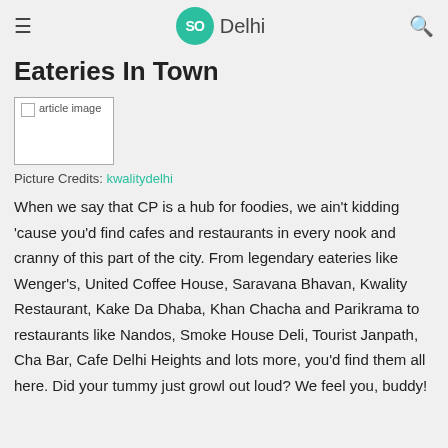SO Delhi
Eateries In Town
[Figure (photo): article image placeholder]
Picture Credits: kwalitydelhi
When we say that CP is a hub for foodies, we ain't kidding 'cause you'd find cafes and restaurants in every nook and cranny of this part of the city. From legendary eateries like Wenger's, United Coffee House, Saravana Bhavan, Kwality Restaurant, Kake Da Dhaba, Khan Chacha and Parikrama to restaurants like Nandos, Smoke House Deli, Tourist Janpath, Cha Bar, Cafe Delhi Heights and lots more, you'd find them all here. Did your tummy just growl out loud? We feel you, buddy!